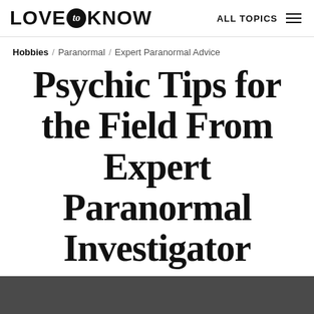LOVE to KNOW   ALL TOPICS
Hobbies / Paranormal / Expert Paranormal Advice
Psychic Tips for the Field From Expert Paranormal Investigator
By Karen Frazier / Psychic Medium
[Figure (other): Social media sharing icons: Facebook, Twitter, Pinterest, Email, and another share icon]